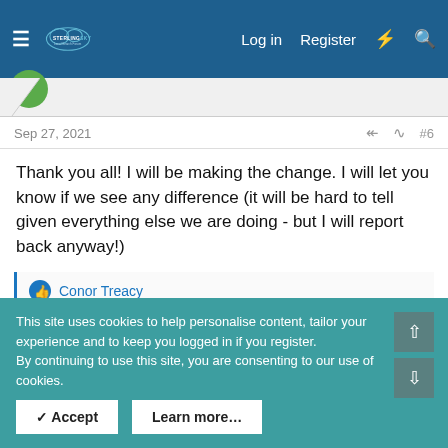Sterling Sky Local Search Forum — Log in  Register
Sep 27, 2021  #6
Thank you all! I will be making the change. I will let you know if we see any difference (it will be hard to tell given everything else we are doing - but I will report back anyway!)
Conor Treacy
1
This site uses cookies to help personalise content, tailor your experience and to keep you logged in if you register.
By continuing to use this site, you are consenting to our use of cookies.
✓ Accept    Learn more…